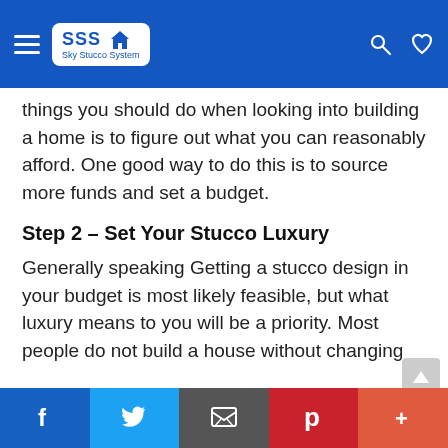SSS Sky Stucco System
things you should do when looking into building a home is to figure out what you can reasonably afford. One good way to do this is to source more funds and set a budget.
Step 2 – Set Your Stucco Luxury
Generally speaking Getting a stucco design in your budget is most likely feasible, but what luxury means to you will be a priority. Most people do not build a house without changing their minds about things as it situations. Some
f  Twitter  Email  Pinterest  +